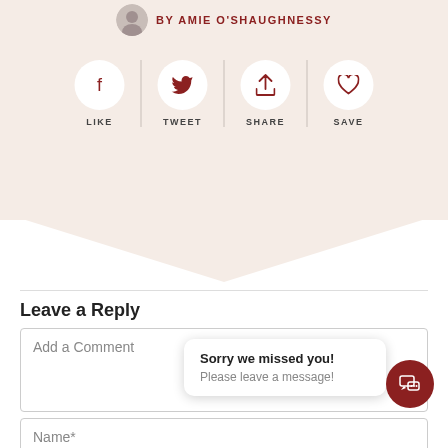BY AMIE O'SHAUGHNESSY
[Figure (infographic): Social sharing buttons row: LIKE (Facebook), TWEET (Twitter), SHARE (upload), SAVE (heart), each in a white circle, separated by vertical lines, with label text below]
Leave a Reply
Add a Comment
Name*
Sorry we missed you! Please leave a message!